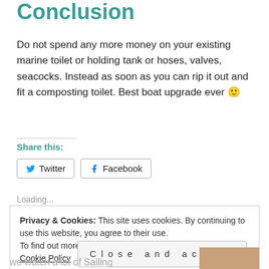Conclusion
Do not spend any more money on your existing marine toilet or holding tank or hoses, valves, seacocks. Instead as soon as you can rip it out and fit a composting toilet. Best boat upgrade ever 🙂
Share this:
Loading...
Privacy & Cookies: This site uses cookies. By continuing to use this website, you agree to their use.
To find out more, including how to control cookies, see here: Cookie Policy
we watch a lot of Sailing